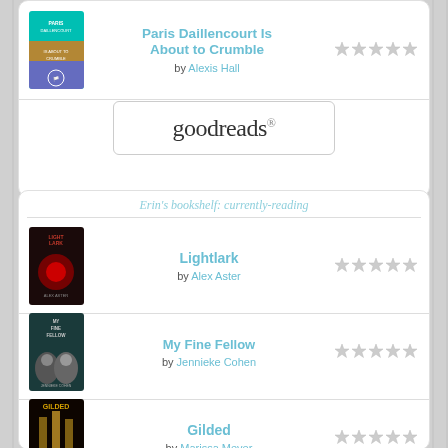[Figure (infographic): Goodreads book widget showing book entry: Paris Daillencourt Is About to Crumble by Alexis Hall with 5 empty stars rating, followed by Goodreads logo]
Erin's bookshelf: currently-reading
[Figure (infographic): Goodreads currently-reading shelf showing: Lightlark by Alex Aster, My Fine Fellow by Jennieke Cohen, Gilded by Marissa Meyer — each with 5 empty star ratings]